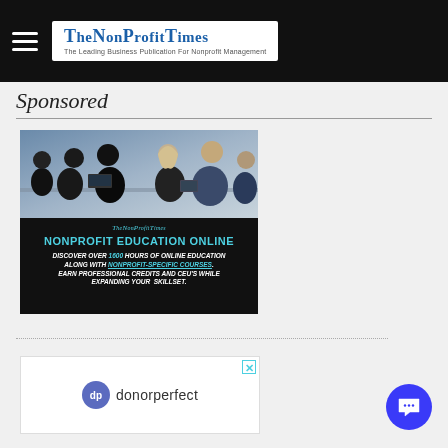The NonProfit Times — The Leading Business Publication For Nonprofit Management
Sponsored
[Figure (photo): Advertisement for NonProfit Times Nonprofit Education Online — showing people in a meeting room from behind, with headline 'NONPROFIT EDUCATION ONLINE: DISCOVER OVER 1600 HOURS OF ONLINE EDUCATION ALONG WITH NONPROFIT-SPECIFIC COURSES. EARN PROFESSIONAL CREDITS AND CEU'S WHILE EXPANDING YOUR SKILLSET.']
[Figure (logo): Advertisement for DonorPerfect — showing the DonorPerfect logo with blue circle dp icon and text 'donorperfect']